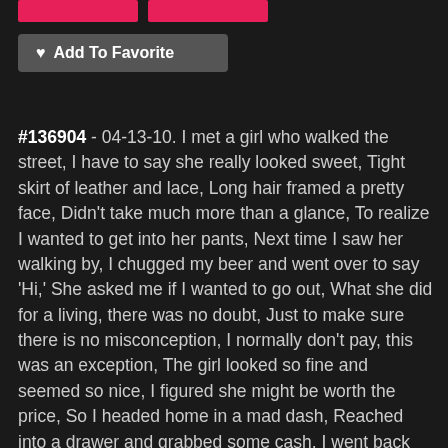[Figure (other): Two pink/red buttons at top of page (partially visible)]
♥ Add To Favorite
#136904 - 04-13-10. I met a girl who walked the street, I have to say she really looked sweet, Tight skirt of leather and lace, Long hair framed a pretty face, Didn't take much more than a glance, To realize I wanted to get into her pants, Next time I saw her walking by, I chugged my beer and went over to say 'Hi,' She asked me if I wanted to go out, What she did for a living, there was no doubt, Just to make sure there is no misconception, I normally don't pay, this was an exception, The girl looked so fine and seemed so nice, I figured she might be worth the price, So I headed home in a mad dash, Reached into a drawer and grabbed some cash, I went back and grabbed her by the hand, Fully expecting a one night stand, The first time we rented a room, It was quick, just 'bing, bam, boom,' But we started meeting here and there, It soon becoming a regular affair, Got to a point where it was 'What the heck?' I should just sign and give her my check, But this girl could really